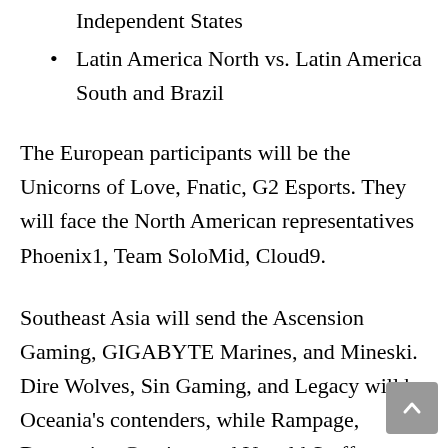Independent States
Latin America North vs. Latin America South and Brazil
The European participants will be the Unicorns of Love, Fnatic, G2 Esports. They will face the North American representatives Phoenix1, Team SoloMid, Cloud9.
Southeast Asia will send the Ascension Gaming, GIGABYTE Marines, and Mineski. Dire Wolves, Sin Gaming, and Legacy will be Oceania's contenders, while Rampage, Detonation Gaming, and Unsold Stuff